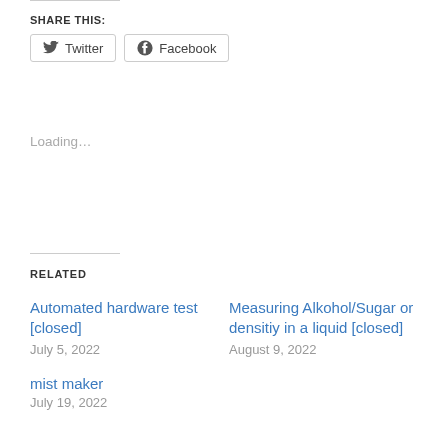SHARE THIS:
Twitter  Facebook
Loading…
RELATED
Automated hardware test [closed]
July 5, 2022
Measuring Alkohol/Sugar or densitiy in a liquid [closed]
August 9, 2022
mist maker
July 19, 2022